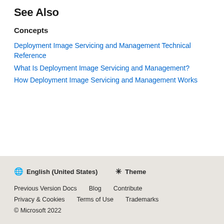See Also
Concepts
Deployment Image Servicing and Management Technical Reference
What Is Deployment Image Servicing and Management?
How Deployment Image Servicing and Management Works
🌐 English (United States)  ☀ Theme  Previous Version Docs  Blog  Contribute  Privacy & Cookies  Terms of Use  Trademarks  © Microsoft 2022